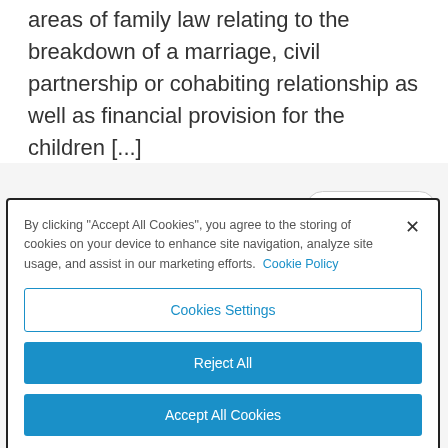areas of family law relating to the breakdown of a marriage, civil partnership or cohabiting relationship as well as financial provision for the children [...]
READ MORE
By clicking "Accept All Cookies", you agree to the storing of cookies on your device to enhance site navigation, analyze site usage, and assist in our marketing efforts. Cookie Policy
Cookies Settings
Reject All
Accept All Cookies